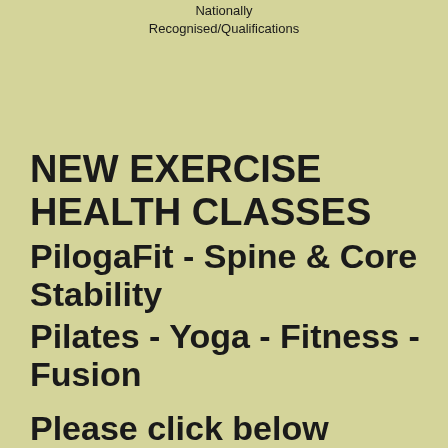Nationally
Recognised/Qualifications
NEW EXERCISE HEALTH CLASSES
PilogaFit - Spine & Core Stability
Pilates - Yoga - Fitness - Fusion
Please click below
PILOGAFIT